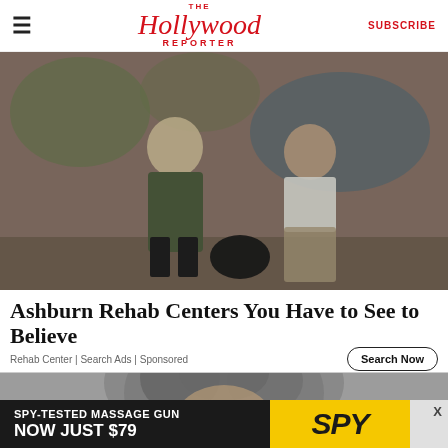The Hollywood Reporter | SUBSCRIBE
[Figure (photo): Two young women sitting against a graffiti-covered brick wall outdoors. One has long blonde hair in a green jacket, the other has curly hair in a white top and leopard print pants. Black and white/desaturated photo style.]
Ashburn Rehab Centers You Have to See to Believe
Rehab Center | Search Ads | Sponsored
[Figure (photo): Person with grey curly hair, head bowed or resting on hand. Partially visible.]
[Figure (screenshot): Advertisement banner: SPY-TESTED MASSAGE GUN NOW JUST $79 with SPY logo on yellow background. Close button X visible.]